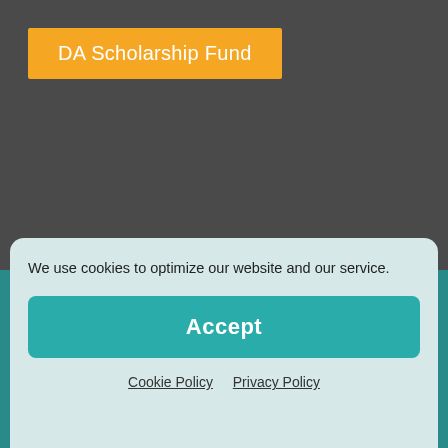DA Scholarship Fund
Washington State AGD | www.washingtonagd.org | (206) 212-4969
19415 International Blvd, #410 SeaTac, WA 98188
Copyright © 2016- 2022 Washington State AGD. All rights reserved.
Notice: All photos of individuals not wearing masks were taken
We use cookies to optimize our website and our service.
Accept
Cookie Policy   Privacy Policy